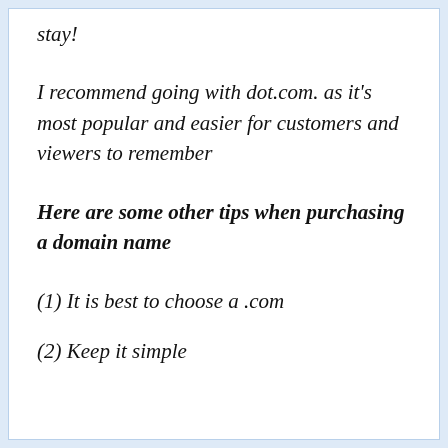stay!
I recommend going with dot.com. as it's most popular and easier for customers and viewers to remember
Here are some other tips when purchasing a domain name
(1) It is best to choose a .com
(2) Keep it simple